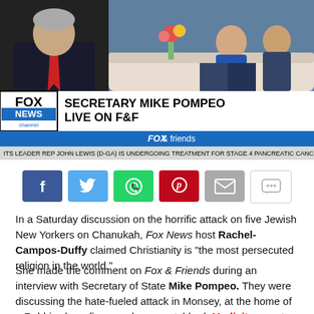[Figure (screenshot): Fox News TV screenshot showing Secretary Mike Pompeo Live on F&F with chyron 'SECRETARY MIKE POMPEO LIVE ON F&F' and Fox & Friends bar, plus a breaking news ticker about Rep John Lewis Stage 4 Pancreatic Cancer]
[Figure (infographic): Social share buttons: Facebook (blue), Twitter (light blue), WhatsApp (green), Pinterest (red), Email (gray), Comment (white/gray)]
In a Saturday discussion on the horrific attack on five Jewish New Yorkers on Chanukah, Fox News host Rachel-Campos-Duffy claimed Christianity is “the most persecuted religion in the world.”
She made the comment on Fox & Friends during an interview with Secretary of State Mike Pompeo. They were discussing the hate-fueled attack in Monsey, at the home of a Rabbi, where five people were stabbed, Mediaite reports.